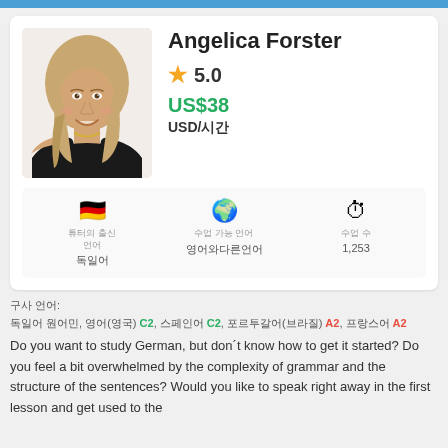[Figure (photo): Profile photo of Angelica Forster, a blonde woman in a black top, smiling]
Angelica Forster
★ 5.0
US$38
USD/시간
튜터의 출신 독일어, 수업 가능 언어 영어와다른언어, 수업 수 1,253
구사 언어:
독일어 원어민, 영어(영국) C2, 스페인어 C2, 포르투갈어(브라질) A2, 프랑스어 A2
Do you want to study German, but don´t know how to get it started? Do you feel a bit overwhelmed by the complexity of grammar and the structure of the sentences? Would you like to speak right away in the first lesson and get used to the